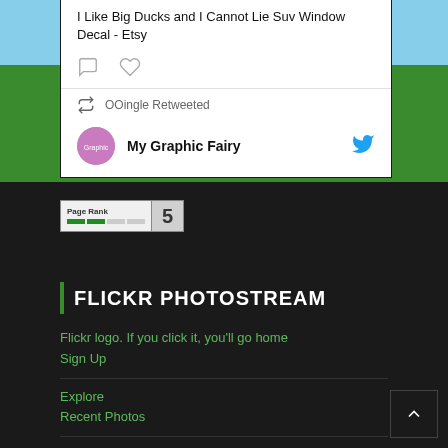I Like Big Ducks and I Cannot Lie Suv Window Decal - Etsy
OOingle Retweeted
My Graphic Fairy
[Figure (screenshot): PageRank badge showing rank 5 with green progress bars]
FLICKR PHOTOSTREAM
Flickr logo. If you click it, you'll go home
Sign Up
Explore
Recent Photos
Trending